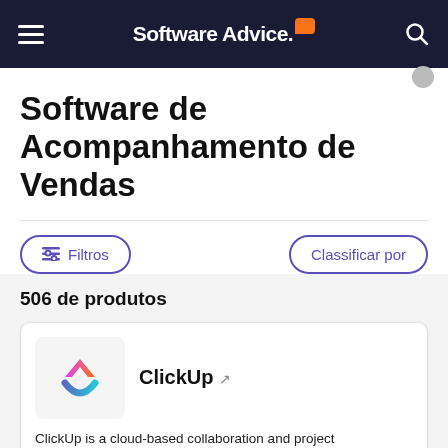Software Advice.
Software de Acompanhamento de Vendas
Filtros
Classificar por
506 de produtos
ClickUp
ClickUp is a cloud-based collaboration and project management tool suitable for businesses of all sizes